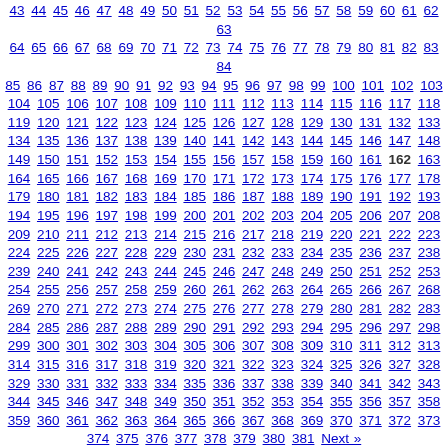Navigation page index listing pages 43 through 381 with Next link and Previous entry link to Military intervention not solution to terrorist threat